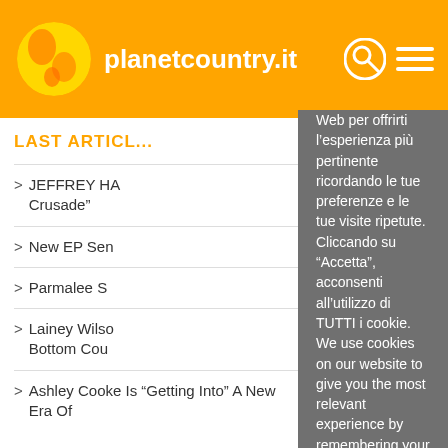planetcountry.it
LAST ARTICLES
> JEFFREY HA... Crusade”
> New EP Sen...
> Parmalee S...
> Lainey Wilson... Bottom Cou...
> Ashley Cooke Is “Getting Into” A New Era Of
Web per offrirti l’esperienza più pertinente ricordando le tue preferenze e le tue visite ripetute. Cliccando su “Accetta”, acconsenti all’utilizzo di TUTTI i cookie. We use cookies on our website to give you the most relevant experience by remembering your preferences and repeat visits. By clicking “Accept”, you consent to the use of ALL the cookies.
Do not sell my personal information.
Read More
Cookie Settings | Accept